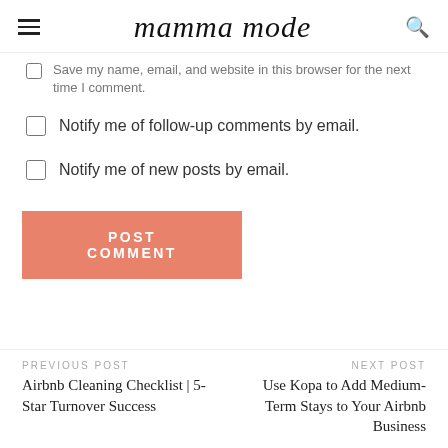mamma mode
Save my name, email, and website in this browser for the next time I comment.
Notify me of follow-up comments by email.
Notify me of new posts by email.
POST COMMENT
PREVIOUS POST
Airbnb Cleaning Checklist | 5-Star Turnover Success
NEXT POST
Use Kopa to Add Medium-Term Stays to Your Airbnb Business